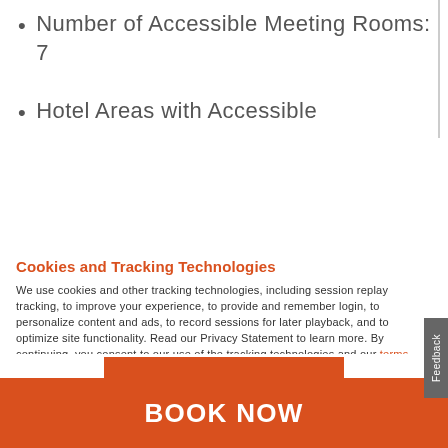Number of Accessible Meeting Rooms: 7
Hotel Areas with Accessible
Cookies and Tracking Technologies
We use cookies and other tracking technologies, including session replay tracking, to improve your experience, to provide and remember login, to personalize content and ads, to record sessions for later playback, and to optimize site functionality. Read our Privacy Statement to learn more. By continuing, you consent to our use of the tracking technologies and our terms including important waivers. To learn more about the trackers on our site and change your preferences, View Settings.
ACCEPT
BOOK NOW